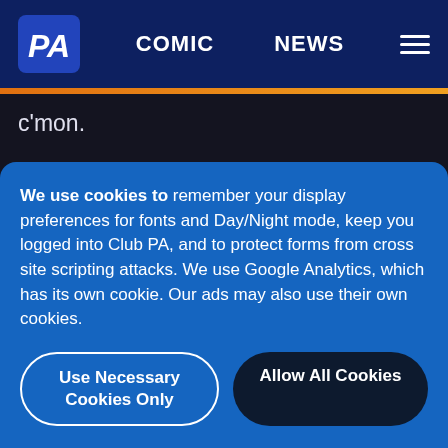PA | COMIC | NEWS
c'mon.
So: now that you know what you know, that these games have been purchased by you, under what possible pretext could somebody say you couldn't use it? I can stream a Steam game from upstairs into the basement, or via the Steam Link app, but I
We use cookies to remember your display preferences for fonts and Day/Night mode, keep you logged into Club PA, and to protect forms from cross site scripting attacks. We use Google Analytics, which has its own cookie. Our ads may also use their own cookies.
Use Necessary Cookies Only
Allow All Cookies